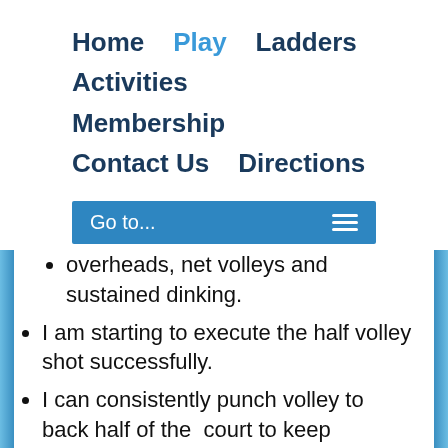Home   Play   Ladders   Activities   Membership   Contact Us   Directions
Go to...
overheads, net volleys and sustained dinking.
I am starting to execute the half volley shot successfully.
I can consistently punch volley to back half of the  court to keep opponents at the baseline.
I can sustain a controlled volley exchange at the net with some ability to place the volley shot.